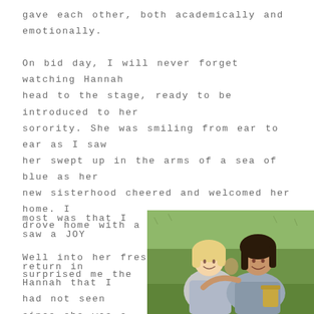gave each other, both academically and emotionally.

On bid day, I will never forget watching Hannah head to the stage, ready to be introduced to her sorority. She was smiling from ear to ear as I saw her swept up in the arms of a sea of blue as her new sisterhood cheered and welcomed her home. I drove home with a smile on my face.

Well into her freshman year, what surprised me the most was that I saw a JOY return in Hannah that I had not seen since she was a little girl.
[Figure (photo): Two young women smiling and hugging outdoors on grass. One is blonde, the other has dark hair. They appear happy and close.]